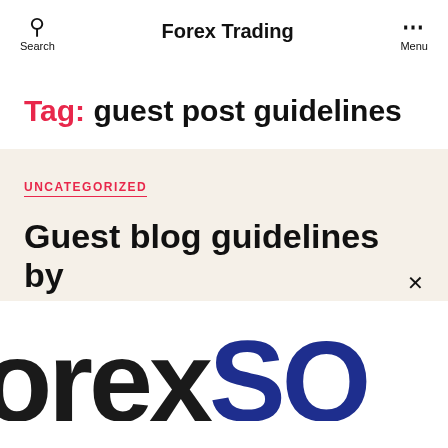Search | Forex Trading | Menu
Tag: guest post guidelines
UNCATEGORIZED
Guest blog guidelines by
[Figure (logo): ForexSQ logo text partially visible, large bold letters showing 'orexSQ' with 'orex' in dark/black and 'SQ' in navy blue]